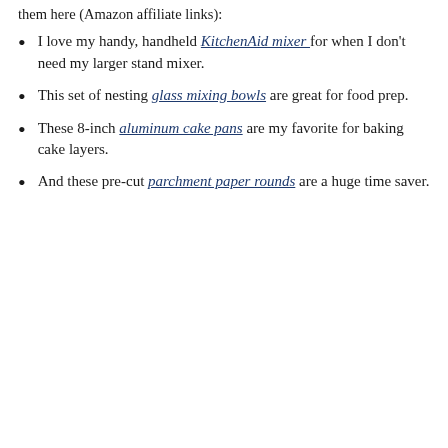them here (Amazon affiliate links):
I love my handy, handheld KitchenAid mixer for when I don't need my larger stand mixer.
This set of nesting glass mixing bowls are great for food prep.
These 8-inch aluminum cake pans are my favorite for baking cake layers.
And these pre-cut parchment paper rounds are a huge time saver.